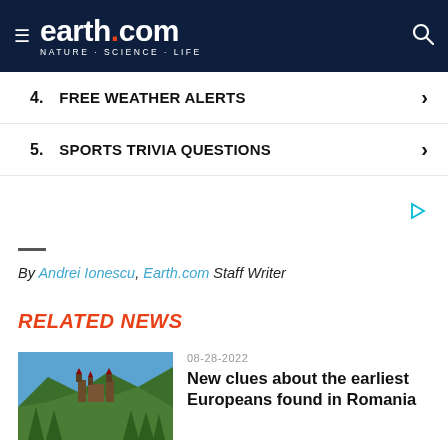earth.com NATURE · SCIENCE · LIFE
4. FREE WEATHER ALERTS
5. SPORTS TRIVIA QUESTIONS
By Andrei Ionescu, Earth.com Staff Writer
RELATED NEWS
08-28-2022
New clues about the earliest Europeans found in Romania
[Figure (photo): Bran Castle in Romania surrounded by forested hills and mountains under a blue sky]